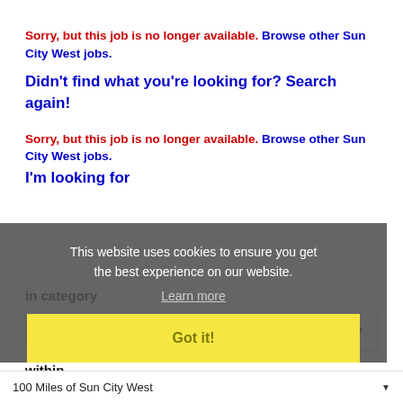Sorry, but this job is no longer available. Browse other Sun City West jobs.
Didn't find what you're looking for? Search again!
Sorry, but this job is no longer available. Browse other Sun City West jobs.
I'm looking for
[Figure (screenshot): Cookie consent overlay with message 'This website uses cookies to ensure you get the best experience on our website.' with Learn more link and Got it! button]
in category
ALL
within
100 Miles of Sun City West